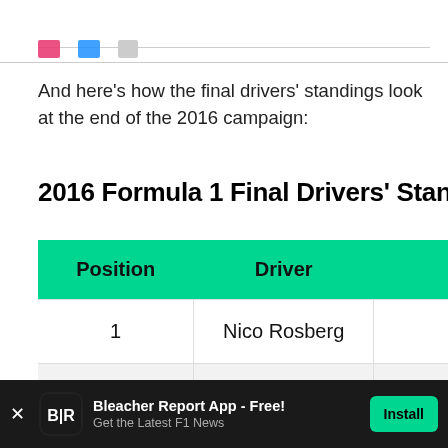[Figure (screenshot): Top portion of a social media post with a horizontal divider line and reaction icons (heart, thumbs up, share)]
And here's how the final drivers' standings look at the end of the 2016 campaign:
2016 Formula 1 Final Drivers' Stand
| Position | Driver |  |
| --- | --- | --- |
| 1 | Nico Rosberg |  |
| 2 | Lewis Hamilton |  |
| 3 | Daniel Ricciardo |  |
[Figure (screenshot): Bleacher Report app advertisement bar at the bottom: icon, 'Bleacher Report App - Free!', 'Get the Latest F1 News', Install button]